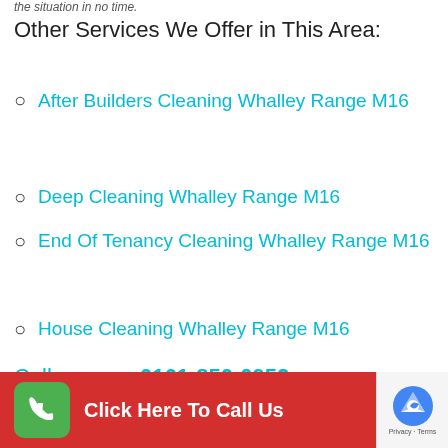the situation in no time.
Other Services We Offer in This Area:
After Builders Cleaning Whalley Range M16
Deep Cleaning Whalley Range M16
End Of Tenancy Cleaning Whalley Range M16
House Cleaning Whalley Range M16
Call us now: 0161-850-0952
[Figure (infographic): Red call-to-action button with green phone icon and text 'Click Here To Call Us', with reCAPTCHA badge in bottom right corner]